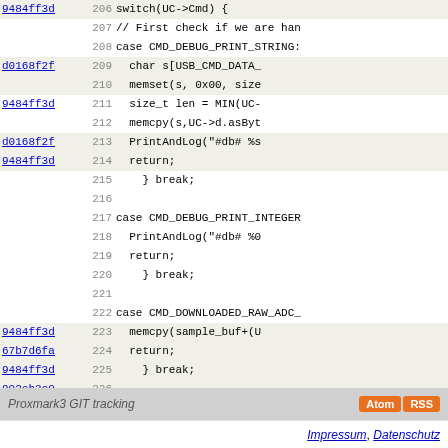[Figure (screenshot): Source code viewer showing C++ code lines 206-233 with git commit hash annotations on the left, line numbers, and syntax-highlighted code. Alternating highlighted rows for annotated lines.]
Proxmark3 GIT tracking  Atom RSS
Impressum, Datenschutz